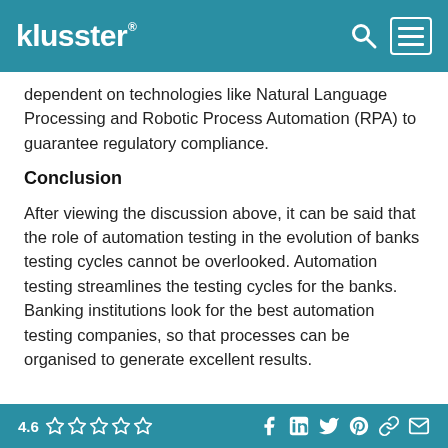klusster®
dependent on technologies like Natural Language Processing and Robotic Process Automation (RPA) to guarantee regulatory compliance.
Conclusion
After viewing the discussion above, it can be said that the role of automation testing in the evolution of banks testing cycles cannot be overlooked. Automation testing streamlines the testing cycles for the banks. Banking institutions look for the best automation testing companies, so that processes can be organised to generate excellent results.
4.6 ☆☆☆☆☆